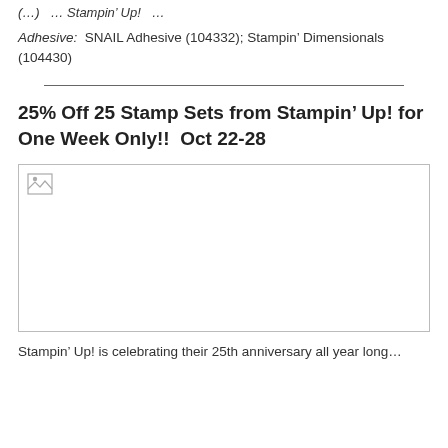(…) … Stampin' Up! …
Adhesive:  SNAIL Adhesive (104332); Stampin' Dimensionals (104430)
25% Off 25 Stamp Sets from Stampin' Up! for One Week Only!!  Oct 22-28
[Figure (photo): Image placeholder with broken image icon in top-left corner, large empty white rectangle with border]
Stampin' Up! is celebrating their 25th anniversary all year long…